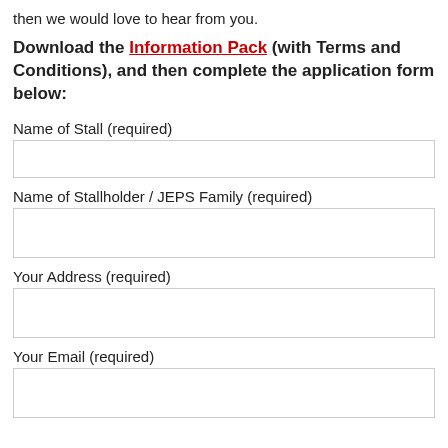then we would love to hear from you.
Download the Information Pack (with Terms and Conditions), and then complete the application form below:
Name of Stall (required)
Name of Stallholder / JEPS Family (required)
Your Address (required)
Your Email (required)